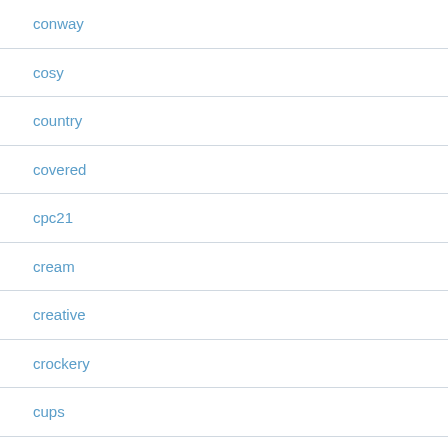conway
cosy
country
covered
cpc21
cream
creative
crockery
cups